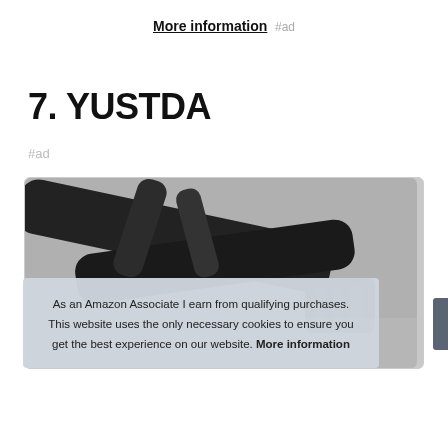More information #ad
7. YUSTDA
#ad
[Figure (photo): Product photo showing black cable/connector against dark background]
As an Amazon Associate I earn from qualifying purchases. This website uses the only necessary cookies to ensure you get the best experience on our website. More information